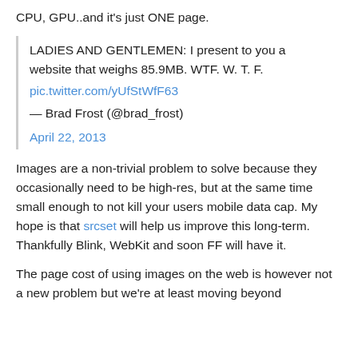CPU, GPU..and it's just ONE page.
LADIES AND GENTLEMEN: I present to you a website that weighs 85.9MB. WTF. W. T. F.
pic.twitter.com/yUfStWfF63

— Brad Frost (@brad_frost)

April 22, 2013
Images are a non-trivial problem to solve because they occasionally need to be high-res, but at the same time small enough to not kill your users mobile data cap. My hope is that srcset will help us improve this long-term. Thankfully Blink, WebKit and soon FF will have it.
The page cost of using images on the web is however not a new problem but we're at least moving beyond